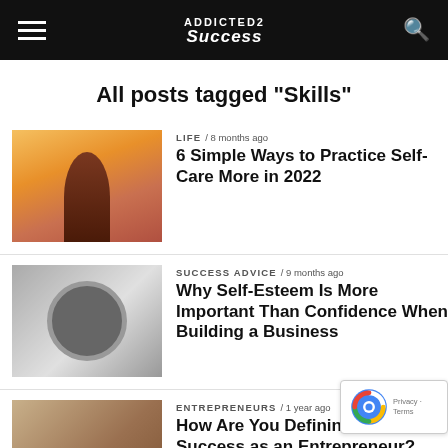ADDICTED2Success
All posts tagged "Skills"
LIFE / 8 months ago
6 Simple Ways to Practice Self-Care More in 2022
SUCCESS ADVICE / 9 months ago
Why Self-Esteem Is More Important Than Confidence When Building a Business
ENTREPRENEURS / 1 year ago
How Are You Defining Your Success as an Entrepreneur?
ENTREPRENEURS / 1 year ago
4 Mental Exercises That Lead to